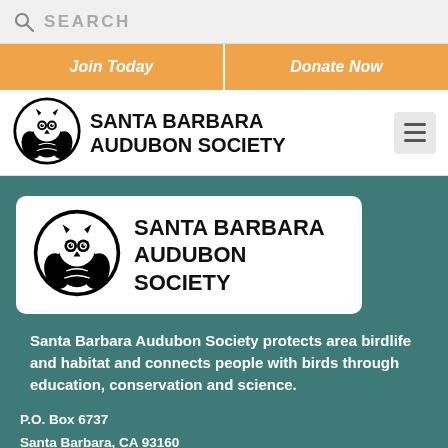SEARCH
Join Today
Donate Now
[Figure (logo): Santa Barbara Audubon Society owl logo — black and white circular owl illustration]
SANTA BARBARA AUDUBON SOCIETY
[Figure (logo): Santa Barbara Audubon Society owl logo — black and white circular owl illustration, larger version inside white card]
SANTA BARBARA AUDUBON SOCIETY
Santa Barbara Audubon Society protects area birdlife and habitat and connects people with birds through education, conservation and science.
P.O. Box 6737
Santa Barbara, CA 93160

Phone: (805) 964-1468